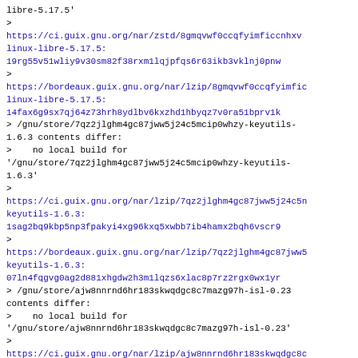libre-5.17.5'
>
https://ci.guix.gnu.org/nar/zstd/8gmqvwf0ccqfyimficcnhxv...
linux-libre-5.17.5:
19rg55v51wliy9v30sm82f38rxm1lqjpfqs6r63ikb3vklnj0pnw
>
https://bordeaux.guix.gnu.org/nar/lzip/8gmqvwf0ccqfyimfic...
linux-libre-5.17.5:
14fax6g9sx7qj64z73hrh8ydlbv6kxzhd1hbyqz7v0ra51bprv1k
> /gnu/store/7qz2jlghm4gc87jww5j24c5mcip0whzy-keyutils-1.6.3 contents differ:
>    no local build for
'/gnu/store/7qz2jlghm4gc87jww5j24c5mcip0whzy-keyutils-1.6.3'
>
https://ci.guix.gnu.org/nar/lzip/7qz2jlghm4gc87jww5j24c5n...
keyutils-1.6.3:
1sag2bq9kbp5np3fpakyi4xg96kxq5xwbb7ib4hamx2bqh6vscr9
>
https://bordeaux.guix.gnu.org/nar/lzip/7qz2jlghm4gc87jww5...
keyutils-1.6.3:
07ln4fqgvg0ag2d881xhgdw2h3m1lqzs6xlac8p7rz2rgx0wx1yr
> /gnu/store/ajw8nnrnd6hr183skwqdgc8c7mazg97h-isl-0.23 contents differ:
>    no local build for
'/gnu/store/ajw8nnrnd6hr183skwqdgc8c7mazg97h-isl-0.23'
>
https://ci.guix.gnu.org/nar/lzip/ajw8nnrnd6hr183skwqdgc8c...
isl-0.23:
03a180af1my71lmsnig01qhrirxa2fp7j052jw9kv5ff4i6ya7fh4